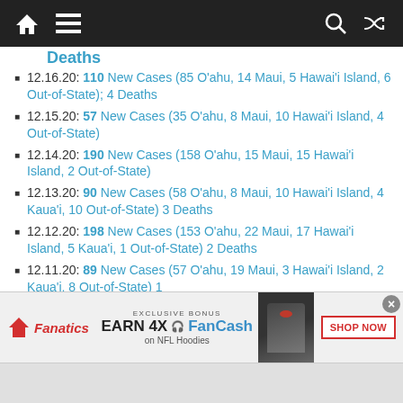Navigation bar with home, menu, search, and shuffle icons
Deaths
12.16.20: 110 New Cases (85 O'ahu, 14 Maui, 5 Hawai'i Island, 6 Out-of-State); 4 Deaths
12.15.20: 57 New Cases (35 O'ahu, 8 Maui, 10 Hawai'i Island, 4 Out-of-State)
12.14.20: 190 New Cases (158 O'ahu, 15 Maui, 15 Hawai'i Island, 2 Out-of-State)
12.13.20: 90 New Cases (58 O'ahu, 8 Maui, 10 Hawai'i Island, 4 Kaua'i, 10 Out-of-State) 3 Deaths
12.12.20: 198 New Cases (153 O'ahu, 22 Maui, 17 Hawai'i Island, 5 Kaua'i, 1 Out-of-State) 2 Deaths
12.11.20: 89 New Cases (57 O'ahu, 19 Maui, 3 Hawai'i Island, 2 Kaua'i, 8 Out-of-State) 1
[Figure (screenshot): Fanatics advertisement banner: Exclusive Bonus - Earn 4X FanCash on NFL Hoodies, with Shop Now button]